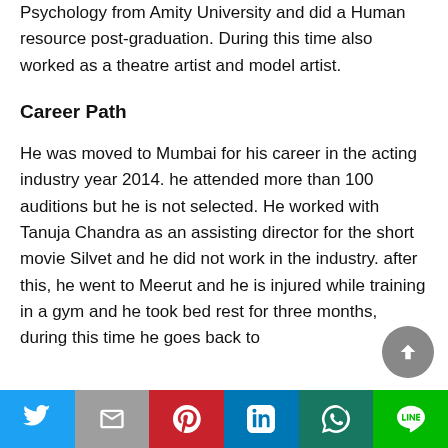Psychology from Amity University and did a Human resource post-graduation. During this time also worked as a theatre artist and model artist.
Career Path
He was moved to Mumbai for his career in the acting industry year 2014. he attended more than 100 auditions but he is not selected. He worked with Tanuja Chandra as an assisting director for the short movie Silvet and he did not work in the industry. after this, he went to Meerut and he is injured while training in a gym and he took bed rest for three months, during this time he goes back to
Social share bar: Twitter, Gmail, Pinterest, LinkedIn, WhatsApp, Line